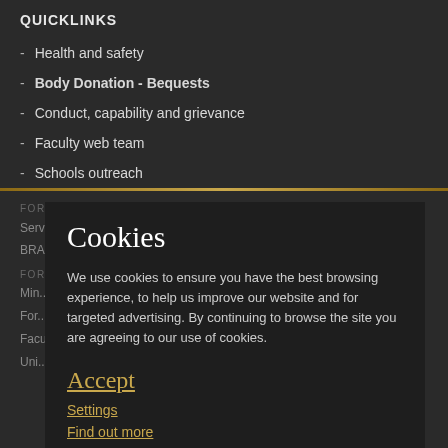QUICKLINKS
Health and safety
Body Donation - Bequests
Conduct, capability and grievance
Faculty web team
Schools outreach
FOR STAFF
Services A-Z
FOR OUR...
Min...
For...
Faculty Graduate School
Uni...
Cookies
We use cookies to ensure you have the best browsing experience, to help us improve our website and for targeted advertising. By continuing to browse the site you are agreeing to our use of cookies.
Accept
Settings
Find out more